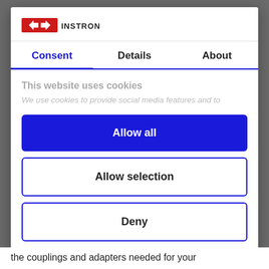[Figure (logo): Instron logo — red stylized X/M mark with INSTRON text in black]
Consent | Details | About
This website uses cookies
We use cookies to provide social media features and to
Allow all
Allow selection
Deny
Powered by Cookiebot by Usercentrics
the couplings and adapters needed for your